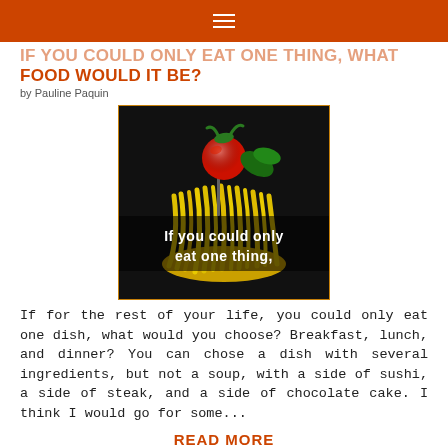☰
IF YOU COULD ONLY EAT ONE THING, WHAT FOOD WOULD IT BE?
by Pauline Paquin
[Figure (photo): Food photo showing noodles/pasta bundled together with a red cherry tomato on top and green basil leaf, on a dark background. Text overlay reads: 'If you could only eat one thing,']
If for the rest of your life, you could only eat one dish, what would you choose? Breakfast, lunch, and dinner? You can chose a dish with several ingredients, but not a soup, with a side of sushi, a side of steak, and a side of chocolate cake. I think I would go for some...
READ MORE